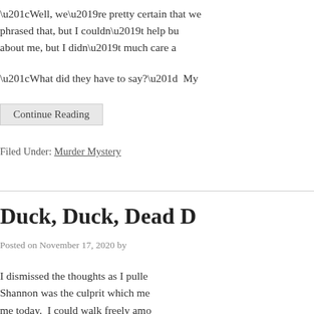“Well, we’re pretty certain that we… phrased that, but I couldn’t help bu… about me, but I didn’t much care a…
“What did they have to say?”  My…
Continue Reading
Filed Under: Murder Mystery
Duck, Duck, Dead D…
Posted on November 17, 2020 by…
I dismissed the thoughts as I pulle… Shannon was the culprit which me… me today.  I could walk freely amo… more than getting food on my outf… when they wanted to hug me and w…